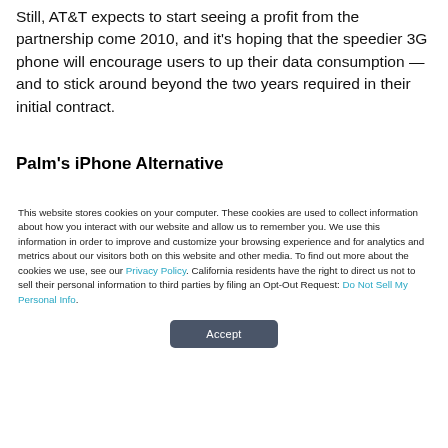Still, AT&T expects to start seeing a profit from the partnership come 2010, and it's hoping that the speedier 3G phone will encourage users to up their data consumption — and to stick around beyond the two years required in their initial contract.
Palm's iPhone Alternative
This website stores cookies on your computer. These cookies are used to collect information about how you interact with our website and allow us to remember you. We use this information in order to improve and customize your browsing experience and for analytics and metrics about our visitors both on this website and other media. To find out more about the cookies we use, see our Privacy Policy. California residents have the right to direct us not to sell their personal information to third parties by filing an Opt-Out Request: Do Not Sell My Personal Info.
Accept